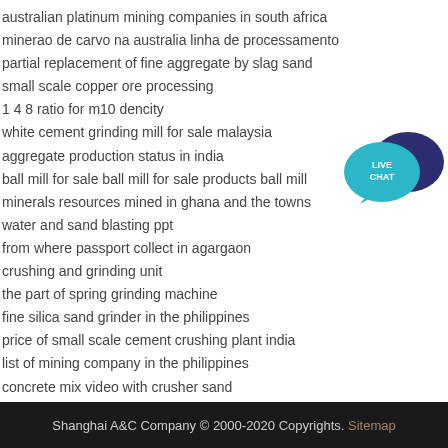australian platinum mining companies in south africa
minerao de carvo na australia linha de processamento
partial replacement of fine aggregate by slag sand
small scale copper ore processing
1 4 8 ratio for m10 dencity
white cement grinding mill for sale malaysia
aggregate production status in india
ball mill for sale ball mill for sale products ball mill
minerals resources mined in ghana and the towns
water and sand blasting ppt
from where passport collect in agargaon
crushing and grinding unit
the part of spring grinding machine
fine silica sand grinder in the philippines
price of small scale cement crushing plant india
list of mining company in the philippines
concrete mix video with crusher sand
rock grinding machine mesh sieve
[Figure (illustration): Live Chat widget with teal speech bubble and dark blue speech bubble, text LIVE CHAT in white]
Shanghai A&C Company © 2000-2020 Copyrights. Sitemap